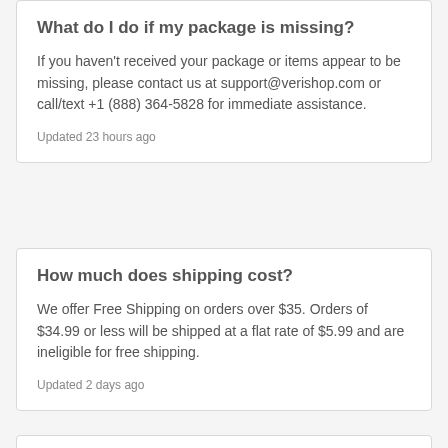What do I do if my package is missing?
If you haven't received your package or items appear to be missing, please contact us at support@verishop.com or call/text +1 (888) 364-5828 for immediate assistance.
Updated 23 hours ago
How much does shipping cost?
We offer Free Shipping on orders over $35. Orders of $34.99 or less will be shipped at a flat rate of $5.99 and are ineligible for free shipping.
Updated 2 days ago
Can I have my order shipped to a P.O. Box